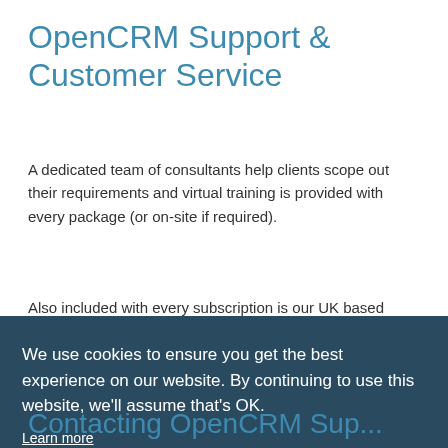OpenCRM Support & Customer Service
A dedicated team of consultants help clients scope out their requirements and virtual training is provided with every package (or on-site if required).
Also included with every subscription is our UK based
We use cookies to ensure you get the best experience on our website. By continuing to use this website, we'll assume that's OK.
Learn more
OK